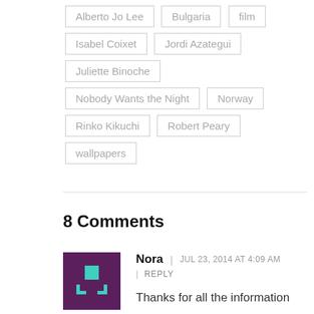Alberto Jo Lee
Bulgaria
film
Isabel Coixet
Jordi Azategui
Juliette Binoche
Nobody Wants the Night
Norway
Rinko Kikuchi
Robert Peary
wallpapers
8 Comments
Nora | JUL 23, 2014 AT 4:09 AM | REPLY Thanks for all the information